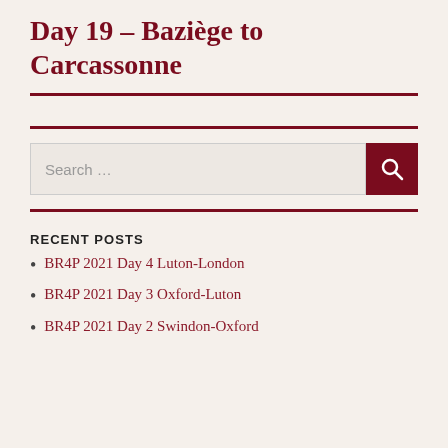Day 19 – Baziège to Carcassonne
RECENT POSTS
BR4P 2021 Day 4 Luton-London
BR4P 2021 Day 3 Oxford-Luton
BR4P 2021 Day 2 Swindon-Oxford